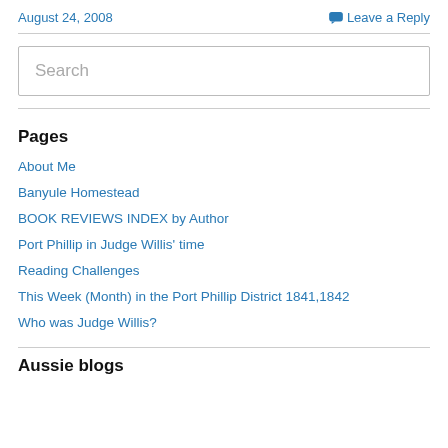August 24, 2008    Leave a Reply
Search
Pages
About Me
Banyule Homestead
BOOK REVIEWS INDEX by Author
Port Phillip in Judge Willis' time
Reading Challenges
This Week (Month) in the Port Phillip District 1841,1842
Who was Judge Willis?
Aussie blogs